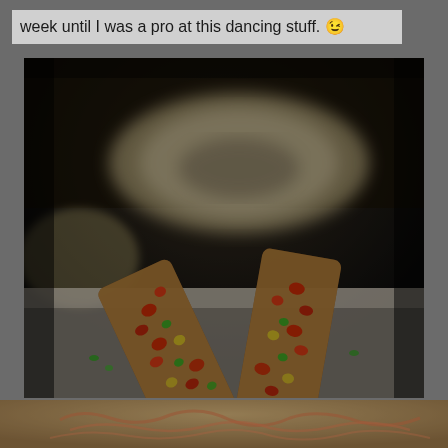week until I was a pro at this dancing stuff. 😉
[Figure (photo): Close-up food photo showing two pieces of bruschetta or toast topped with colorful chopped vegetables including red peppers and herbs, with a blurred white plate in the background. Dark, moody lighting.]
[Figure (photo): Partial bottom image showing continuation of food photography with similar toppings, partially cut off at bottom of page.]